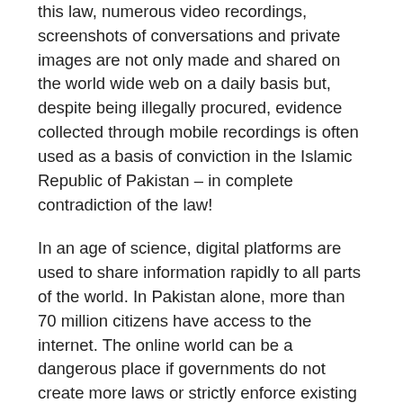this law, numerous video recordings, screenshots of conversations and private images are not only made and shared on the world wide web on a daily basis but, despite being illegally procured, evidence collected through mobile recordings is often used as a basis of conviction in the Islamic Republic of Pakistan – in complete contradiction of the law!
In an age of science, digital platforms are used to share information rapidly to all parts of the world. In Pakistan alone, more than 70 million citizens have access to the internet. The online world can be a dangerous place if governments do not create more laws or strictly enforce existing ones regarding the accountability of sharing false news, misinformation, rumors and hate speech. Such measures will not only will not only limit slander, bullying and bigotry,